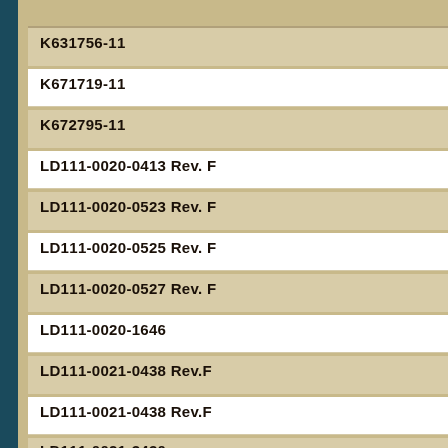K631756-11
K671719-11
K672795-11
LD111-0020-0413 Rev. F
LD111-0020-0523 Rev. F
LD111-0020-0525 Rev. F
LD111-0020-0527 Rev. F
LD111-0020-1646
LD111-0021-0438 Rev.F
LD111-0021-0438 Rev.F
LD111-0021-3430